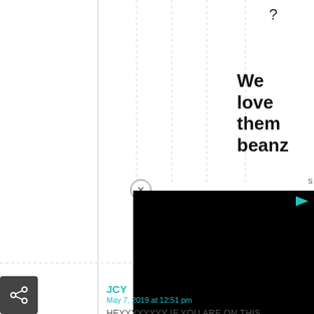?
We love them beanz
October 9, 2019 at 7:40 pm
[Figure (screenshot): Black video player rectangle with play button icon in top-right corner, with a close (X) button circle above-left of the video]
s
JCY
May 7, 2019 at 12:51 pm
HEYYYYYYYY IF YOU ARE ON THIS